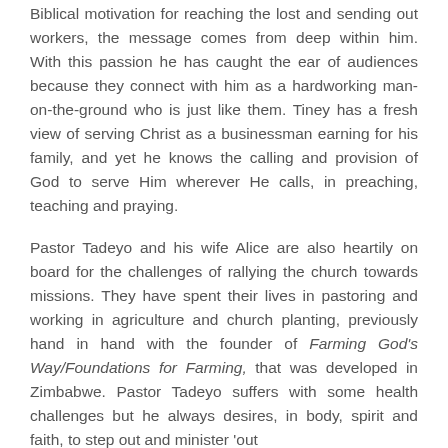Biblical motivation for reaching the lost and sending out workers, the message comes from deep within him. With this passion he has caught the ear of audiences because they connect with him as a hardworking man-on-the-ground who is just like them. Tiney has a fresh view of serving Christ as a businessman earning for his family, and yet he knows the calling and provision of God to serve Him wherever He calls, in preaching, teaching and praying.
Pastor Tadeyo and his wife Alice are also heartily on board for the challenges of rallying the church towards missions. They have spent their lives in pastoring and working in agriculture and church planting, previously hand in hand with the founder of Farming God's Way/Foundations for Farming, that was developed in Zimbabwe. Pastor Tadeyo suffers with some health challenges but he always desires, in body, spirit and faith, to step out and minister 'out